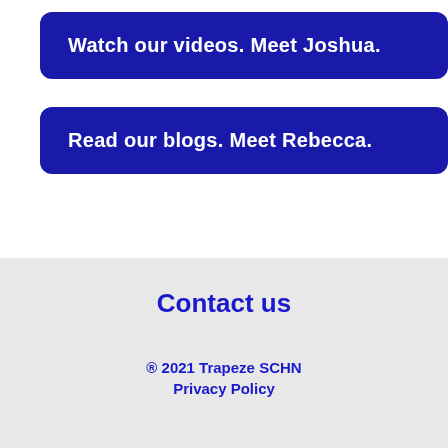Watch our videos. Meet Joshua.
Read our blogs. Meet Rebecca.
Contact us
® 2021 Trapeze SCHN
Privacy Policy